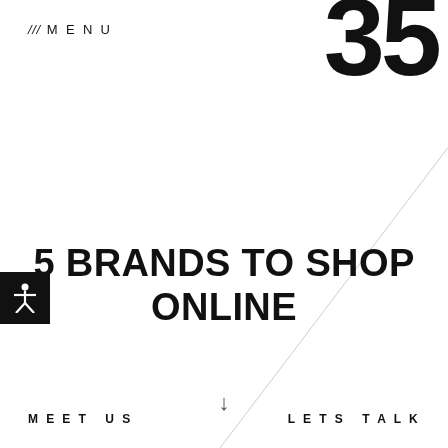/// MENU
[Figure (illustration): Large bold number '35' partially visible in top right corner, cropped at edges]
[Figure (illustration): Diagonal light gray line running from top right to bottom left across the page]
[Figure (illustration): Black square accessibility icon with human figure (arms and legs spread) in white, positioned at left edge]
5 BRANDS TO SHOP ONLINE
[Figure (illustration): Downward arrow symbol centered on page]
MEET US
LETS TALK